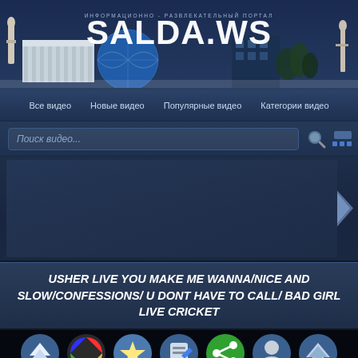[Figure (screenshot): Website header banner for SALDA.WS with skyline cityscape, globe, and statues]
ИНФОРМАЦИОННО - РАЗВЛЕКАТЕЛЬНЫЙ ПОРТАЛ SALDA.WS
Все видео  Новые видео  Популярные видео  Категории видео
Поиск видео...
[Figure (screenshot): Video player area - dark blue panel]
USHER LIVE YOU MAKE ME WANNA/NICE AND SLOW/CONFESSIONS/ U DONT HAVE TO CALL/ BAD GIRL LIVE CRICKET
[Figure (screenshot): Bottom toolbar with circular icon buttons: download, color wheel, star, pen, share, person, up arrow]